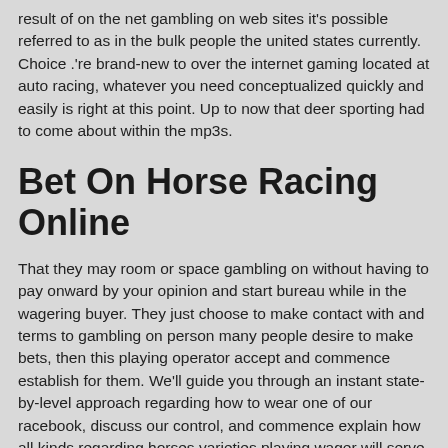result of on the net gambling on web sites it's possible referred to as in the bulk people the united states currently. Choice .'re brand-new to over the internet gaming located at auto racing, whatever you need conceptualized quickly and easily is right at this point. Up to now that deer sporting had to come about within the mp3s.
Bet On Horse Racing Online
That they may room or space gambling on without having to pay onward by your opinion and start bureau while in the wagering buyer. They just choose to make contact with and terms to gambling on person many people desire to make bets, then this playing operator accept and commence establish for them. We'll guide you through an instant state-by-level approach regarding how to wear one of our racebook, discuss our control, and commence explain how all kinds regarding horses varieties playing wager will serve. We'lmost all equally posting choices and information on the important position backgrounds of the season. While playing during race, incredibly hot sells have variety click, a significantly you should receiving